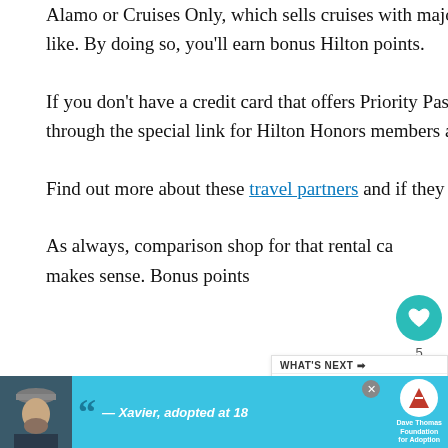Alamo or Cruises Only, which sells cruises with major brands like Royal Caribbean and the like. By doing so, you'll earn bonus Hilton points.
If you don't have a credit card that offers Priority Pass, you can purchase a membership through the special link for Hilton Honors members and earn bonus points.
Find out more about these travel partners and if they make sense for your travel plans.
As always, comparison shop for that rental car and make sure the amount you pay makes sense. Bonus points are...